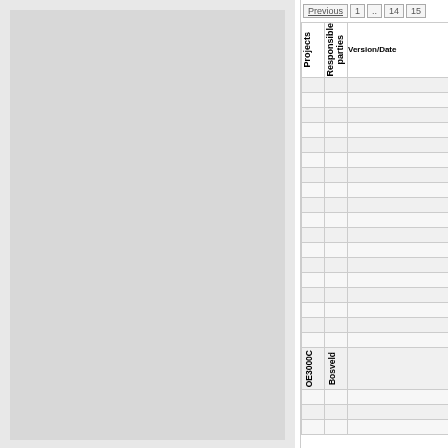[Figure (screenshot): Gray rectangular placeholder panel on the left side of the page]
| Projects | Responsible parties | Version/Date |
| --- | --- | --- |
|  |  |  |
|  |  |  |
|  |  |  |
|  |  |  |
|  |  |  |
|  |  |  |
|  |  |  |
|  |  |  |
|  |  |  |
|  |  |  |
|  |  |  |
|  |  |  |
|  |  |  |
|  |  |  |
|  |  |  |
|  |  |  |
|  |  |  |
|  |  |  |
| OE3000C | Bosveld |  |
|  |  |  |
|  |  |  |
|  |  |  |